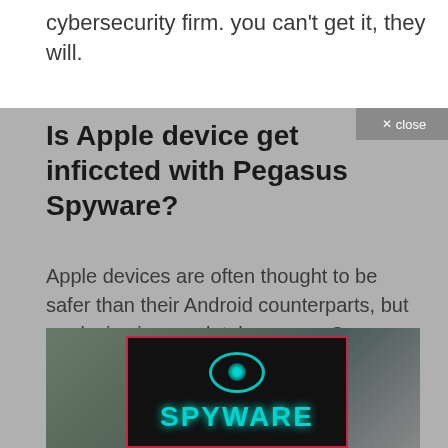cybersecurity firm. you can't get it, they will.
Is Apple device get inficcted with Pegasus Spyware?
Apple devices are often thought to be safer than their Android counterparts, but no device is completely secure. Company Apple pushed to make it difficult to hack iOS, to make software downloads simple and secure, and to make patching for newly discovered vulnerabilities the standard.
[Figure (photo): A dark background image with the word SPYWARE in large teal/cyan letters, with an eye graphic below, framed by a pink/red border. Behind the frame is a blurred outdoor background.]